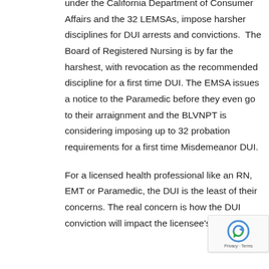under the California Department of Consumer Affairs and the 32 LEMSAs, impose harsher disciplines for DUI arrests and convictions.  The Board of Registered Nursing is by far the harshest, with revocation as the recommended discipline for a first time DUI. The EMSA issues a notice to the Paramedic before they even go to their arraignment and the BLVNPT is considering imposing up to 32 probation requirements for a first time Misdemeanor DUI.
For a licensed health professional like an RN, EMT or Paramedic, the DUI is the least of their concerns. The real concern is how the DUI conviction will impact the licensee's